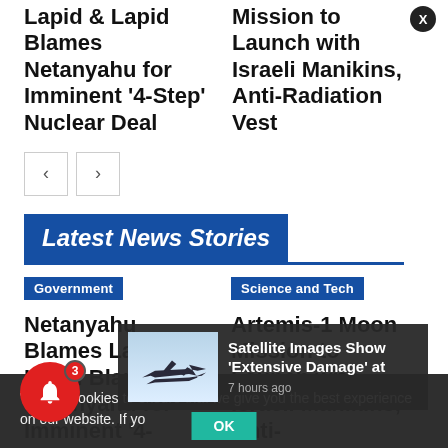Lapid & Lapid Blames Netanyahu for Imminent '4-Step' Nuclear Deal
Mission to Launch with Israeli Manikins, Anti-Radiation Vest
Latest News Stories
Government
Netanyahu Blames Lapid & Lapid Blames Netanyahu for Imminent '4-
Science and Tech
Artemis-1 Moon Mission to Launch with Israeli Manikins, Anti-
We use cookies to ensure that we give you the best experience on our website. If yo
[Figure (photo): Fighter jet thumbnail for news story]
Satellite Images Show 'Extensive Damage' at
7 hours ago